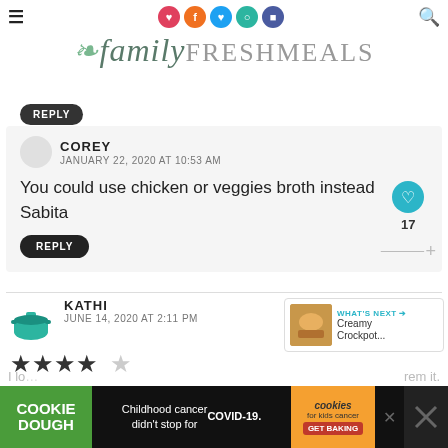familyFRESHMEALS
REPLY
COREY
JANUARY 22, 2020 AT 10:53 AM
You could use chicken or veggies broth instead Sabita
REPLY
KATHI
JUNE 14, 2020 AT 2:11 PM
[Figure (illustration): 4-star rating displayed as filled star icons]
[Figure (screenshot): What's Next panel showing Creamy Crockpot recipe thumbnail]
[Figure (infographic): Cookie Dough / Childhood cancer didn't stop for COVID-19 / cookies for kids cancer GET BAKING advertisement banner]